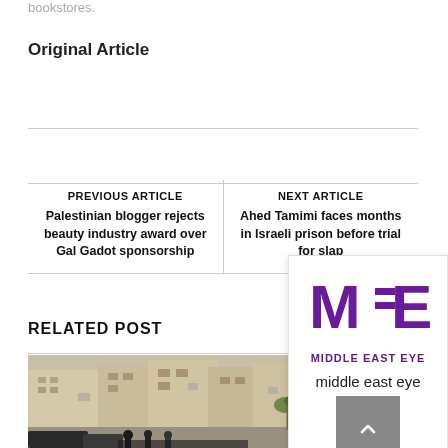bookstores.
Original Article
PREVIOUS ARTICLE
Palestinian blogger rejects beauty industry award over Gal Gadot sponsorship
NEXT ARTICLE
Ahed Tamimi faces months in Israeli prison before trial for slap
RELATED POST
[Figure (photo): Street scene with buildings, palm trees, vehicles and people]
[Figure (logo): Middle East Eye logo — MEE in purple with text MIDDLE EAST EYE below]